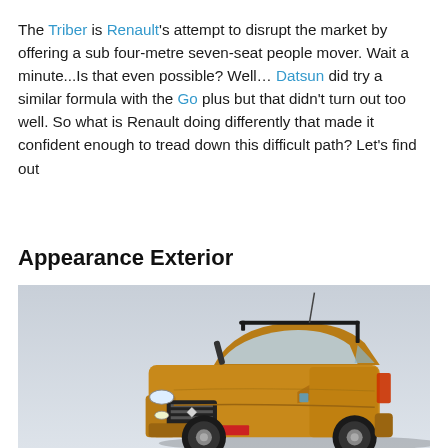The Triber is Renault's attempt to disrupt the market by offering a sub four-metre seven-seat people mover. Wait a minute...Is that even possible? Well... Datsun did try a similar formula with the Go plus but that didn't turn out too well. So what is Renault doing differently that made it confident enough to tread down this difficult path? Let's find out
Appearance Exterior
[Figure (photo): A golden/orange Renault Triber SUV photographed from the front-left angle against a light grey sky background. The car features the distinctive Renault diamond logo on the grille, roof rails, and an overall compact MPV/SUV crossover design.]